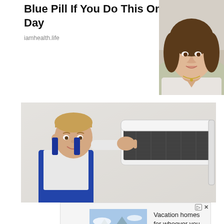Men, You Don't Need The Blue Pill If You Do This Once A Day
iamhealth.life
[Figure (photo): Woman portrait photo - smiling brunette woman]
[Figure (photo): Technician servicing a wall-mounted air conditioning unit, opening the front panel]
[Figure (photo): Vrbo advertisement - vacation homes with mountain backdrop. Text: Vacation homes for whoever you call family. Find yours button.]